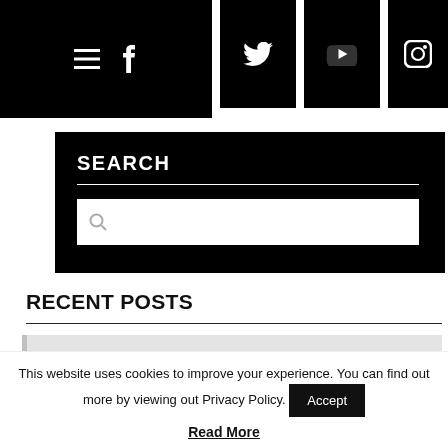Social media icon bar: menu, Facebook, Twitter, YouTube, Instagram
SEARCH
RECENT POSTS
5 TRUTHS YOUR WEBSITE IS SAYING ABOUT YOUR B2B BUSINESS
This website uses cookies to improve your experience. You can find out more by viewing out Privacy Policy.
Accept
Read More